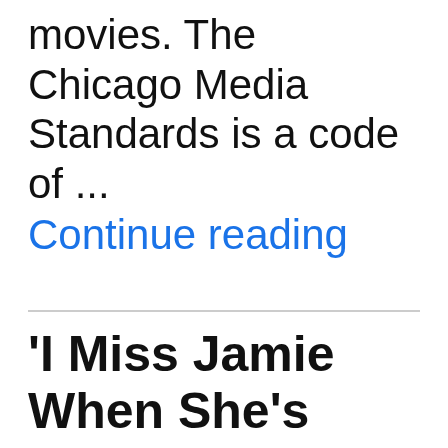movies. The Chicago Media Standards is a code of ... Continue reading
'I Miss Jamie When She's Gone' at Logan Theater